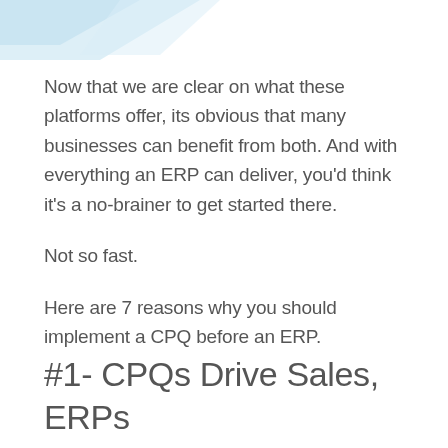[Figure (illustration): Decorative light blue angular accent graphic in the top-left corner of the page]
Now that we are clear on what these platforms offer, its obvious that many businesses can benefit from both. And with everything an ERP can deliver, youd think it's a no-brainer to get started there.
Not so fast.
Here are 7 reasons why you should implement a CPQ before an ERP.
#1- CPQs Drive Sales, ERPs